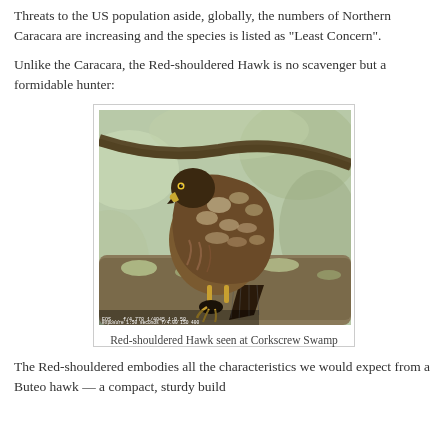Threats to the US population aside, globally, the numbers of Northern Caracara are increasing and the species is listed as "Least Concern".
Unlike the Caracara, the Red-shouldered Hawk is no scavenger but a formidable hunter:
[Figure (photo): Photo of a Red-shouldered Hawk perched on a tree branch at Corkscrew Swamp, showing brown and white speckled plumage, holding prey beneath its talons.]
Red-shouldered Hawk seen at Corkscrew Swamp
The Red-shouldered embodies all the characteristics we would expect from a Buteo hawk — a compact, sturdy build